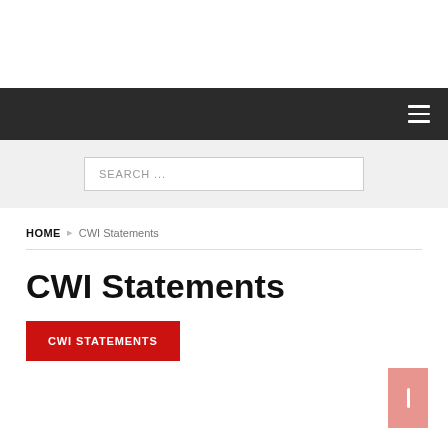Navigation bar with hamburger menu
SEARCH ...
HOME › CWI Statements
CWI Statements
CWI STATEMENTS